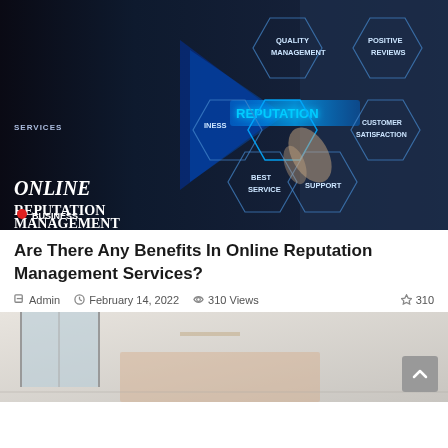[Figure (photo): Hero image showing a businessman touching a glowing hexagonal diagram with words: QUALITY MANAGEMENT, POSITIVE REVIEWS, REPUTATION, BEST SERVICE, CUSTOMER SATISFACTION, SUPPORT, BUSINESS. Left side shows text 'ONLINE REPUTATION MANAGEMENT SERVICES' on dark background. Bottom-left shows red dot with BUSINESS label.]
Are There Any Benefits In Online Reputation Management Services?
Admin  February 14, 2022  310 Views  310
[Figure (photo): Partial view of a light, modern interior room — partially visible at bottom of page.]